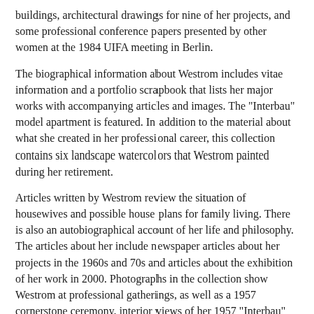buildings, architectural drawings for nine of her projects, and some professional conference papers presented by other women at the 1984 UIFA meeting in Berlin.
The biographical information about Westrom includes vitae information and a portfolio scrapbook that lists her major works with accompanying articles and images. The "Interbau" model apartment is featured. In addition to the material about what she created in her professional career, this collection contains six landscape watercolors that Westrom painted during her retirement.
Articles written by Westrom review the situation of housewives and possible house plans for family living. There is also an autobiographical account of her life and philosophy. The articles about her include newspaper articles about her projects in the 1960s and 70s and articles about the exhibition of her work in 2000. Photographs in the collection show Westrom at professional gatherings, as well as a 1957 cornerstone ceremony, interior views of her 1957 "Interbau" model home, and exterior views of buildings, many of which are not identified.
Drawings for nine of Westrom's projects are included in this collection, representing schools, a university dormitory, housing projects, a parsonage, an apartment with an atelier and a home for the elderly. Drawings for each project may include site layouts, elevations, cross sections, and floor plans.